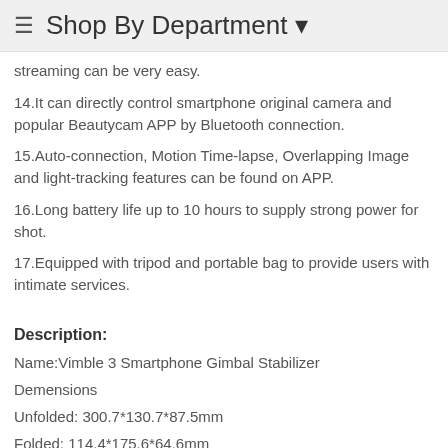Shop By Department
streaming can be very easy.
14.It can directly control smartphone original camera and popular Beautycam APP by Bluetooth connection.
15.Auto-connection, Motion Time-lapse, Overlapping Image and light-tracking features can be found on APP.
16.Long battery life up to 10 hours to supply strong power for shot.
17.Equipped with tripod and portable bag to provide users with intimate services.
Description:
Name:Vimble 3 Smartphone Gimbal Stabilizer
Demensions
Unfolded: 300.7*130.7*87.5mm
Folded: 114.4*175.6*64.6mm
Weight: About 387g/0.853 lb(Not include tripod)
Material of Main Body:PA6, ABS+PC